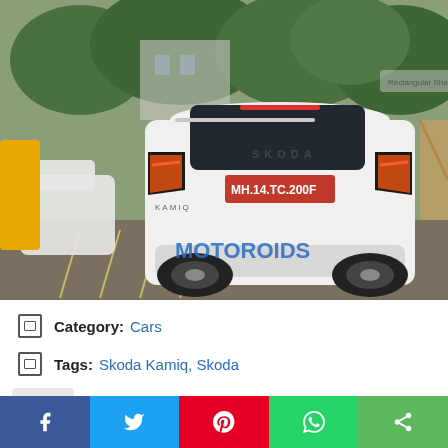[Figure (photo): Rear view of a white Skoda Kamiq SUV with license plate MH.14.TC.200F, watermarked MOTOROIDS, parked in a lot with trees in background]
Category: Cars
Tags: Skoda Kamiq, Skoda
By skodakamiqindia on Mon,